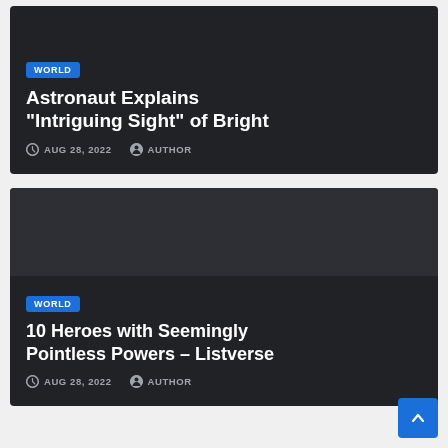[Figure (screenshot): Article card 1 with dark background, WORLD badge, title 'Astronaut Explains "Intriguing Sight" of Bright', date AUG 28, 2022, AUTHOR]
[Figure (screenshot): Article card 2 with dark background and image area, WORLD badge, title '10 Heroes with Seemingly Pointless Powers – Listverse', date AUG 28, 2022, AUTHOR]